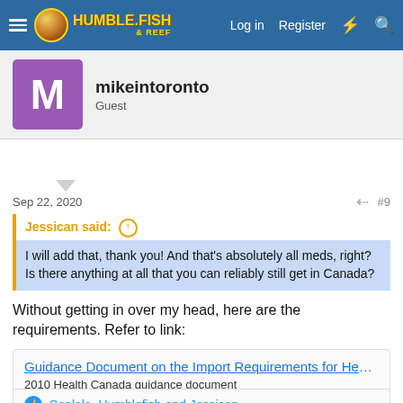Humble Fish & Reef — Log in | Register
mikeintoronto
Guest
Sep 22, 2020  #9
Jessican said: ↑
I will add that, thank you! And that's absolutely all meds, right? Is there anything at all that you can reliably still get in Canada?
Without getting in over my head, here are the requirements. Refer to link:
Guidance Document on the Import Requirements for Health…
2010 Health Canada guidance document
www.canada.ca
Sealala, Humblefish and Jessican